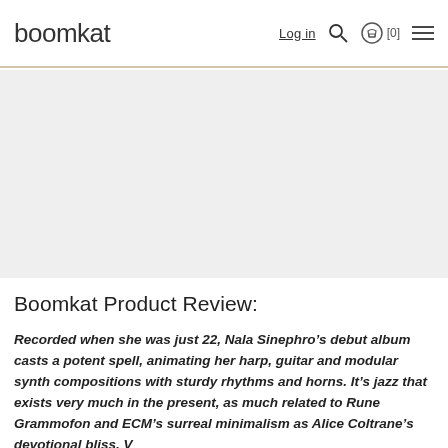boomkat   Log in  🔍  [0]  ☰
[Figure (photo): Gray placeholder image area for album artwork or product image]
Boomkat Product Review:
Recorded when she was just 22, Nala Sinephro's debut album casts a potent spell, animating her harp, guitar and modular synth compositions with sturdy rhythms and horns. It's jazz that exists very much in the present, as much related to Rune Grammofon and ECM's surreal minimalism as Alice Coltrane's devotional bliss. V